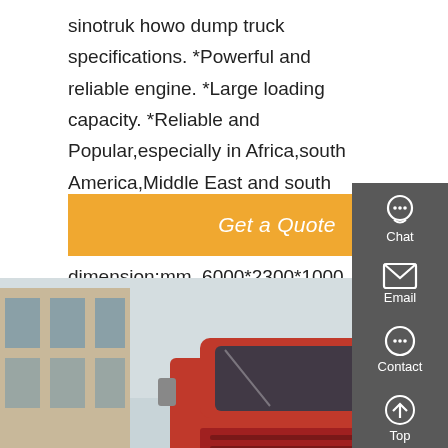sinotruk howo dump truck specifications. *Powerful and reliable engine. *Large loading capacity. *Reliable and Popular,especially in Africa,south America,Middle East and south East Asia. *Better after sale servce. *Longer Guarantee Time. Carriage dimension:mm. 6000*2300*1000.
Get a Quote
[Figure (photo): Red Sinotruk Howo dump truck parked in a yard with a teal/green truck visible on the right side, industrial building in background]
[Figure (infographic): Right sidebar with dark gray background showing Chat (headset icon), Email (envelope icon), Contact (speech bubble icon), and Top (up arrow icon) navigation buttons separated by red dividers]